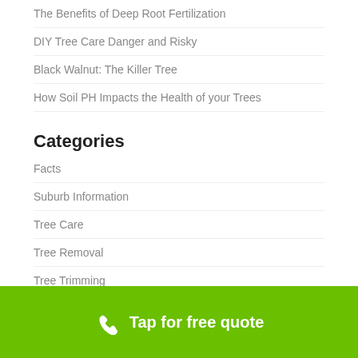The Benefits of Deep Root Fertilization
DIY Tree Care Danger and Risky
Black Walnut: The Killer Tree
How Soil PH Impacts the Health of your Trees
Categories
Facts
Suburb Information
Tree Care
Tree Removal
Tree Trimming
Uncategorized
Tap for free quote